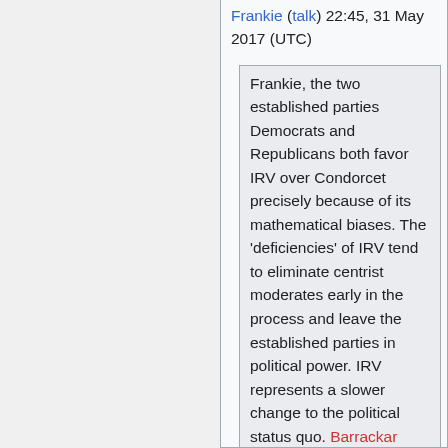Frankie (talk) 22:45, 31 May 2017 (UTC)
Frankie, the two established parties Democrats and Republicans both favor IRV over Condorcet precisely because of its mathematical biases. The 'deficiencies' of IRV tend to eliminate centrist moderates early in the process and leave the established parties in political power. IRV represents a slower change to the political status quo. Barrackar (talk) 07:35, 2 June 2017 (UTC)